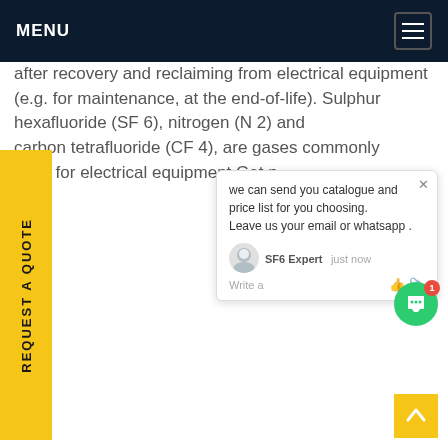MENU
after recovery and reclaiming from electrical equipment (e.g. for maintenance, at the end-of-life). Sulphur hexafluoride (SF 6), nitrogen (N 2) and carbon tetrafluoride (CF 4), are gases commonly used for electrical equipment.Get p...
[Figure (screenshot): Yellow vertical side tab with text REQUEST A QUOTE rotated 90 degrees]
[Figure (screenshot): Chat popup overlay showing message: we can send you catalogue and price list for you choosing. Leave us your email or whatsapp. SF6 Expert - just now. Write a message input area with thumbs up and attachment icons.]
[Figure (screenshot): Green circular chat button with badge showing number 1]
[Figure (screenshot): Yellow back-to-top arrow button in bottom right corner]